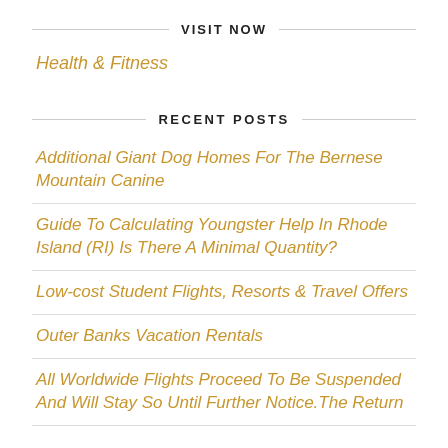VISIT NOW
Health & Fitness
RECENT POSTS
Additional Giant Dog Homes For The Bernese Mountain Canine
Guide To Calculating Youngster Help In Rhode Island (RI) Is There A Minimal Quantity?
Low-cost Student Flights, Resorts & Travel Offers
Outer Banks Vacation Rentals
All Worldwide Flights Proceed To Be Suspended And Will Stay So Until Further Notice.The Return